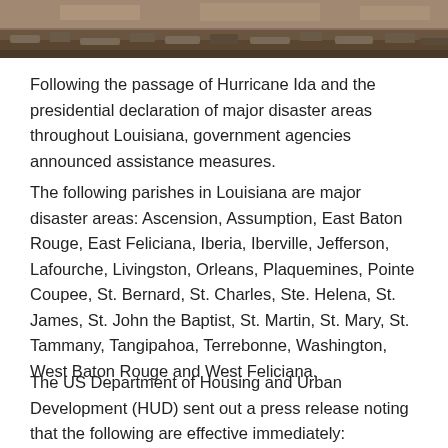[Figure (photo): Aerial or close-up photograph of disaster damage, likely debris or rubble from Hurricane Ida, shown at the top of the page.]
Following the passage of Hurricane Ida and the presidential declaration of major disaster areas throughout Louisiana, government agencies announced assistance measures.
The following parishes in Louisiana are major disaster areas: Ascension, Assumption, East Baton Rouge, East Feliciana, Iberia, Iberville, Jefferson, Lafourche, Livingston, Orleans, Plaquemines, Pointe Coupee, St. Bernard, St. Charles, Ste. Helena, St. James, St. John the Baptist, St. Martin, St. Mary, St. Tammany, Tangipahoa, Terrebonne, Washington, West Baton Rouge and West Feliciana.
The US Department of Housing and Urban Development (HUD) sent out a press release noting that the following are effective immediately: